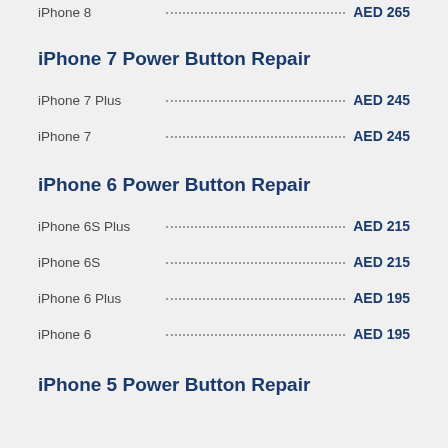iPhone 8 ... AED 265
iPhone 7 Power Button Repair
iPhone 7 Plus ... AED 245
iPhone 7 ... AED 245
iPhone 6 Power Button Repair
iPhone 6S Plus ... AED 215
iPhone 6S ... AED 215
iPhone 6 Plus ... AED 195
iPhone 6 ... AED 195
iPhone 5 Power Button Repair